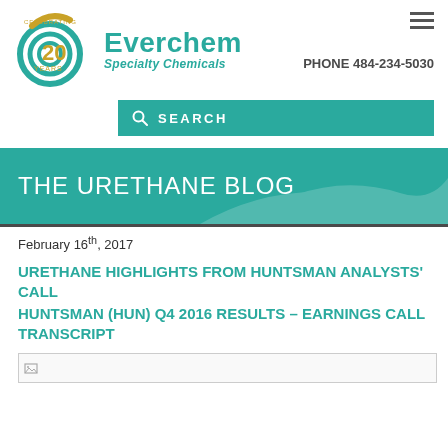[Figure (logo): Everchem Specialty Chemicals logo with '20 Years Celebrating' badge and teal swirl graphic]
PHONE 484-234-5030
SEARCH
THE URETHANE BLOG
February 16th, 2017
URETHANE HIGHLIGHTS FROM HUNTSMAN ANALYSTS' CALL
HUNTSMAN (HUN) Q4 2016 RESULTS – EARNINGS CALL TRANSCRIPT
[Figure (photo): Broken image placeholder]